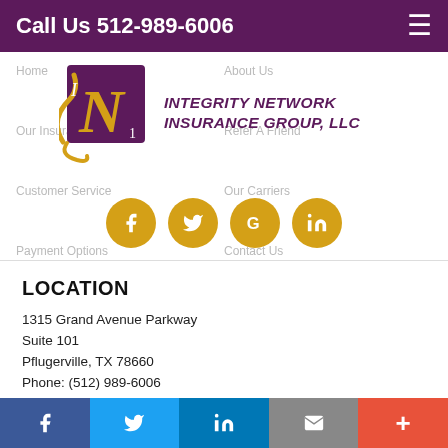Call Us 512-989-6006
[Figure (logo): Integrity Network Insurance Group, LLC logo with stylized N monogram in purple and gold]
Home | About Us | Our Insurance | Refer A Friend | Customer Service | Our Carriers | Payment Options | Report a Claim | Contact Us
LOCATION
1315 Grand Avenue Parkway
Suite 101
Pflugerville, TX 78660
Phone: (512) 989-6006
Fax: (512) 343-0352
In California dba Integrity Network Insurance Solutions
Facebook | Twitter | LinkedIn | Email | More